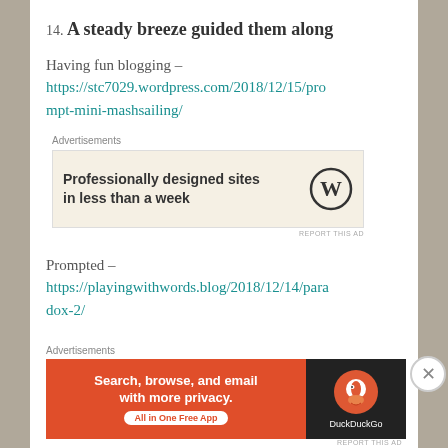14. A steady breeze guided them along
Having fun blogging – https://stc7029.wordpress.com/2018/12/15/prompt-mini-mashsailing/
[Figure (infographic): Advertisement for WordPress: 'Professionally designed sites in less than a week' with WordPress logo]
Prompted – https://playingwithwords.blog/2018/12/14/paradox-2/
[Figure (infographic): Advertisement for DuckDuckGo: 'Search, browse, and email with more privacy. All in One Free App' with DuckDuckGo logo on dark background]